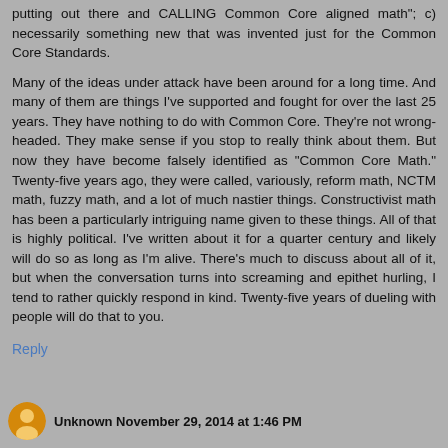putting out there and CALLING Common Core aligned math"; c) necessarily something new that was invented just for the Common Core Standards.
Many of the ideas under attack have been around for a long time. And many of them are things I've supported and fought for over the last 25 years. They have nothing to do with Common Core. They're not wrong-headed. They make sense if you stop to really think about them. But now they have become falsely identified as "Common Core Math." Twenty-five years ago, they were called, variously, reform math, NCTM math, fuzzy math, and a lot of much nastier things. Constructivist math has been a particularly intriguing name given to these things. All of that is highly political. I've written about it for a quarter century and likely will do so as long as I'm alive. There's much to discuss about all of it, but when the conversation turns into screaming and epithet hurling, I tend to rather quickly respond in kind. Twenty-five years of dueling with people will do that to you.
Reply
Unknown November 29, 2014 at 1:46 PM